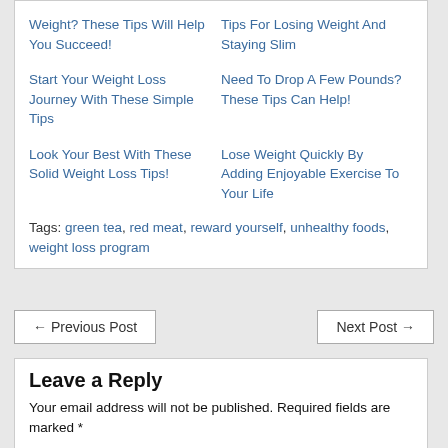Weight? These Tips Will Help You Succeed!
Tips For Losing Weight And Staying Slim
Start Your Weight Loss Journey With These Simple Tips
Need To Drop A Few Pounds? These Tips Can Help!
Look Your Best With These Solid Weight Loss Tips!
Lose Weight Quickly By Adding Enjoyable Exercise To Your Life
Tags: green tea, red meat, reward yourself, unhealthy foods, weight loss program
← Previous Post
Next Post →
Leave a Reply
Your email address will not be published. Required fields are marked *